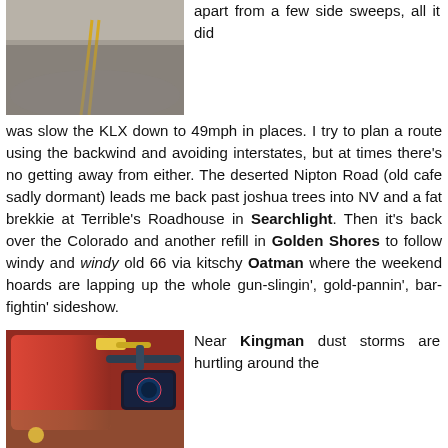[Figure (photo): Aerial view of a road with double yellow center lines curving away into the distance on gray asphalt]
apart from a few side sweeps, all it did was slow the KLX down to 49mph in places. I try to plan a route using the backwind and avoiding interstates, but at times there's no getting away from either. The deserted Nipton Road (old cafe sadly dormant) leads me back past joshua trees into NV and a fat brekkie at Terrible's Roadhouse in Searchlight. Then it's back over the Colorado and another refill in Golden Shores to follow windy and windy old 66 via kitschy Oatman where the weekend hoards are lapping up the whole gun-slingin', gold-pannin', bar-fightin' sideshow.
[Figure (photo): Close-up of a red fuel canister being used to refuel a motorcycle, with handlebars and instrument cluster visible in background]
Near Kingman dust storms are hurtling around the